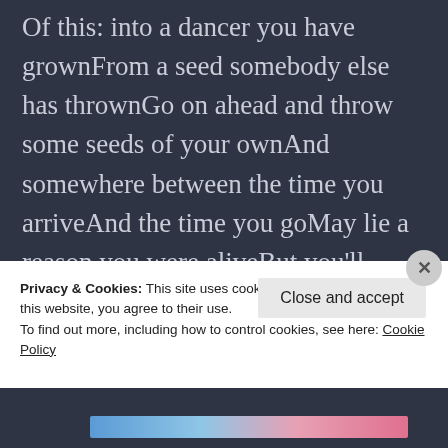Of this: into a dancer you have grownFrom a seed somebody else has thrownGo on ahead and throw some seeds of your ownAnd somewhere between the time you arriveAnd the time you goMay lie a reason you were aliveBut you'll never know Jackson Browne
The Biggest Life Event That No One Talks About
Privacy & Cookies: This site uses cookies. By continuing to use this website, you agree to their use.
To find out more, including how to control cookies, see here: Cookie Policy
Close and accept